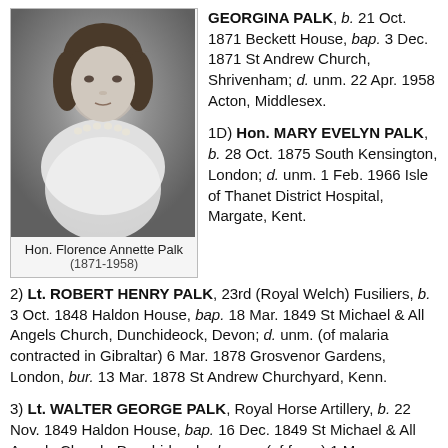[Figure (photo): Black and white portrait photograph of a young woman wearing a pearl necklace, identified as Hon. Florence Annette Palk]
Hon. Florence Annette Palk
(1871-1958)
GEORGINA PALK, b. 21 Oct. 1871 Beckett House, bap. 3 Dec. 1871 St Andrew Church, Shrivenham; d. unm. 22 Apr. 1958 Acton, Middlesex.
1D) Hon. MARY EVELYN PALK, b. 28 Oct. 1875 South Kensington, London; d. unm. 1 Feb. 1966 Isle of Thanet District Hospital, Margate, Kent.
2) Lt. ROBERT HENRY PALK, 23rd (Royal Welch) Fusiliers, b. 3 Oct. 1848 Haldon House, bap. 18 Mar. 1849 St Michael & All Angels Church, Dunchideock, Devon; d. unm. (of malaria contracted in Gibraltar) 6 Mar. 1878 Grosvenor Gardens, London, bur. 13 Mar. 1878 St Andrew Churchyard, Kenn.
3) Lt. WALTER GEORGE PALK, Royal Horse Artillery, b. 22 Nov. 1849 Haldon House, bap. 16 Dec. 1849 St Michael & All Angels Church, Dunchideock; d. unm. (of fever) 1 May